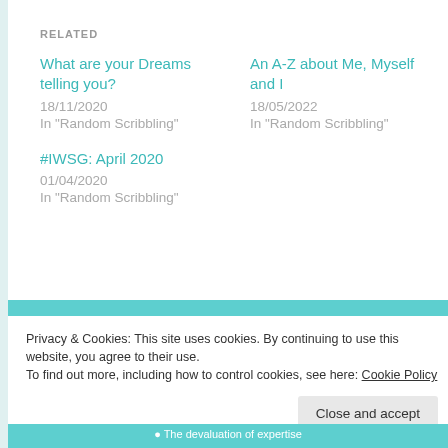RELATED
What are your Dreams telling you?
18/11/2020
In "Random Scribbling"
An A-Z about Me, Myself and I
18/05/2022
In "Random Scribbling"
#IWSG: April 2020
01/04/2020
In "Random Scribbling"
Privacy & Cookies: This site uses cookies. By continuing to use this website, you agree to their use.
To find out more, including how to control cookies, see here: Cookie Policy
Close and accept
The devaluation of expertise